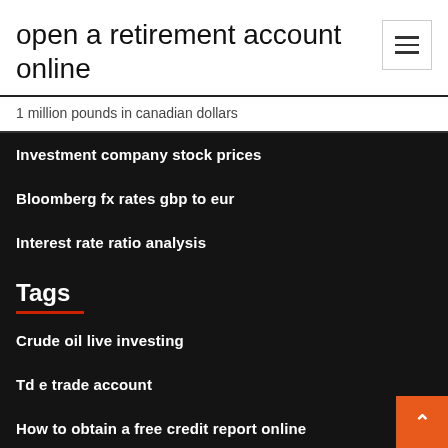open a retirement account online
1 million pounds in canadian dollars
Investment company stock prices
Bloomberg fx rates gbp to eur
Interest rate ratio analysis
Tags
Crude oil live investing
Td e trade account
How to obtain a free credit report online
Private party car sale contract form
How invest in stocks and make money